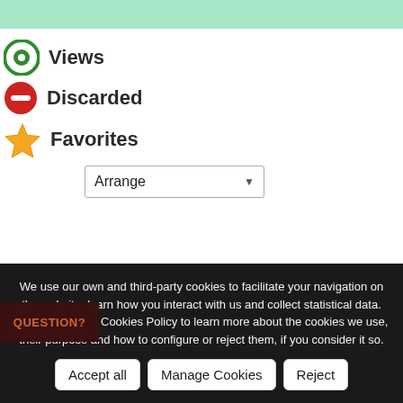Views
Discarded
Favorites
[Figure (screenshot): Arrange dropdown selector]
We use our own and third-party cookies to facilitate your navigation on the website, learn how you interact with us and collect statistical data. Please read our Cookies Policy to learn more about the cookies we use, their purpose and how to configure or reject them, if you consider it so.
QUESTION?
Accept all | Manage Cookies | Reject